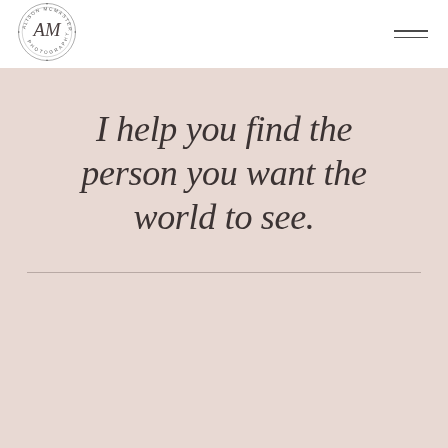[Figure (logo): Alison McMaster Photography circular logo with stylized AM monogram]
I help you find the person you want the world to see.